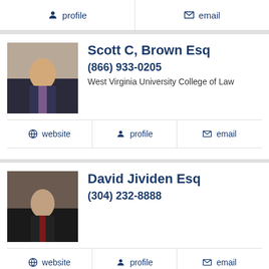profile   email
Scott C, Brown Esq
(866) 933-0205
West Virginia University College of Law
website   profile   email
David Jividen Esq
(304) 232-8888
website   profile   email
Candace Lee Ogle